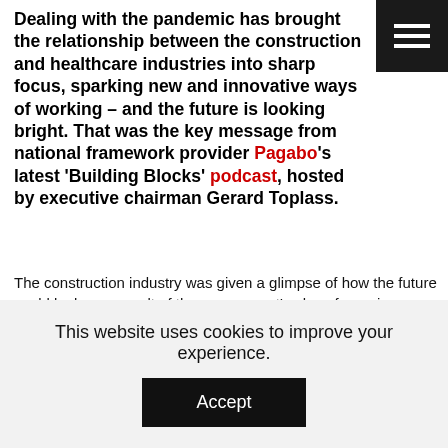Dealing with the pandemic has brought the relationship between the construction and healthcare industries into sharp focus, sparking new and innovative ways of working – and the future is looking bright. That was the key message from national framework provider Pagabo's latest 'Building Blocks' podcast, hosted by executive chairman Gerard Toplass.
The construction industry was given a glimpse of how the future could look as a result of the government's plans for major investment in healthcare over the next decade, thanks to a vastly improved, collaborative and well-integrated supply chain, which evolved during the pandemic.
The ways in which the whole industry united and problem-solved on the hoof was nothing short of impressive, adapting rapidly to ever-changing guidance to ensure as much certainty and support for clients as possible.
This was a point driven home by podcast guest Stuart McArthur, health
This website uses cookies to improve your experience.